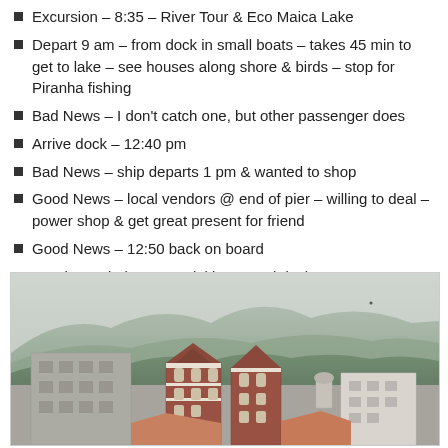Excursion – 8:35 – River Tour & Eco Maica Lake
Depart 9 am – from dock in small boats – takes 45 min to get to lake – see houses along shore & birds – stop for Piranha fishing
Bad News – I don't catch one, but other passenger does
Arrive dock – 12:40 pm
Bad News – ship departs 1 pm & wanted to shop
Good News – local vendors @ end of pier – willing to deal – power shop & get great present for friend
Good News – 12:50 back on board
Lunch – Kebabs & Souvlakis on pool deck
[Figure (photo): View of a riverside town with historic red-brick buildings, construction, and forested misty mountains in the background]